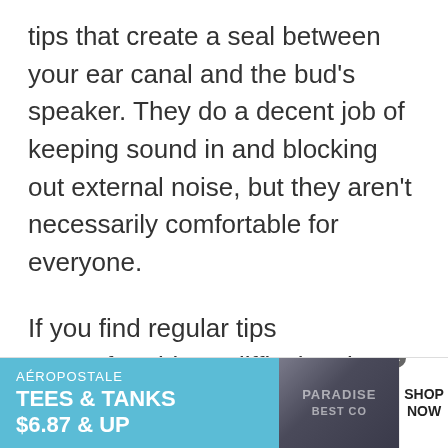tips that create a seal between your ear canal and the bud's speaker. They do a decent job of keeping sound in and blocking out external noise, but they aren't necessarily comfortable for everyone.
If you find regular tips uncomfortable or difficult to keep in your ear, try upgrading to foam or double flange tips. While they cost more than standard ones and may not last as
[Figure (other): Advertisement banner for Aéropostale: 'TEES & TANKS $6.87 & UP' with SHOP NOW call to action]